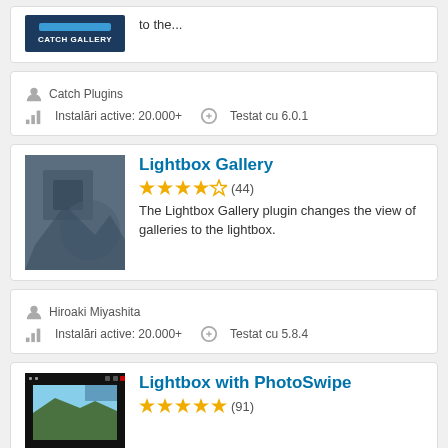[Figure (screenshot): Catch Gallery plugin logo thumbnail showing blue bar and CATCH GALLERY text on dark background]
to the...
Catch Plugins
Instalări active: 20.000+
Testat cu 6.0.1
[Figure (screenshot): Lightbox Gallery plugin thumbnail with dark gray/blue abstract shapes]
Lightbox Gallery
3.5 stars (44)
The Lightbox Gallery plugin changes the view of galleries to the lightbox.
Hiroaki Miyashita
Instalări active: 20.000+
Testat cu 5.8.4
[Figure (screenshot): Lightbox with PhotoSwipe plugin thumbnail showing a landscape photo in a lightbox UI]
Lightbox with PhotoSwipe
5 stars (91)